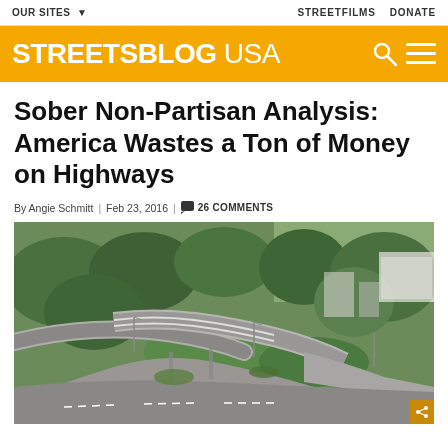OUR SITES ▾  |  STREETFILMS  DONATE
STREETSBLOG USA
Sober Non-Partisan Analysis: America Wastes a Ton of Money on Highways
By Angie Schmitt | Feb 23, 2016 | 26 COMMENTS
[Figure (photo): Aerial view of a complex highway interchange with multiple elevated ramps and bridges, surrounded by green trees and suburban development]